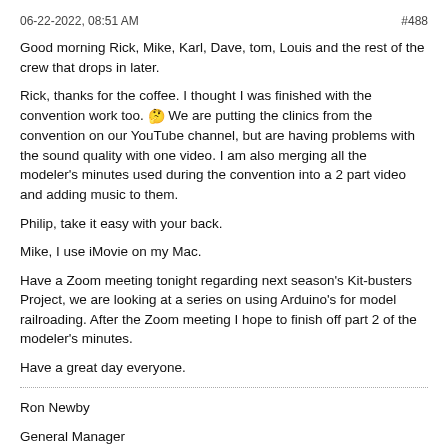06-22-2022, 08:51 AM    #488
Good morning Rick, Mike, Karl, Dave, tom, Louis and the rest of the crew that drops in later.
Rick, thanks for the coffee. I thought I was finished with the convention work too. 🤔 We are putting the clinics from the convention on our YouTube channel, but are having problems with the sound quality with one video. I am also merging all the modeler's minutes used during the convention into a 2 part video and adding music to them.
Philip, take it easy with your back.
Mike, I use iMovie on my Mac.
Have a Zoom meeting tonight regarding next season's Kit-busters Project, we are looking at a series on using Arduino's for model railroading. After the Zoom meeting I hope to finish off part 2 of the modeler's minutes.
Have a great day everyone.
Ron Newby
General Manager
Clearwater Valley Railway Co.